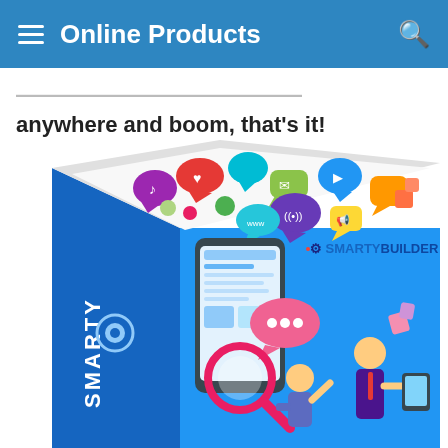Online Products
anywhere and boom, that's it!
[Figure (photo): SmartyBuilder product box — a 3D software box with a blue background featuring colorful social media speech bubble icons on top and the SmartyBuilder logo. The front face shows a smartphone UI, a magnifying glass, a pink speech bubble, and two illustrated business people. The left side of the box shows the SMARTY text vertically with a gear/globe logo.]